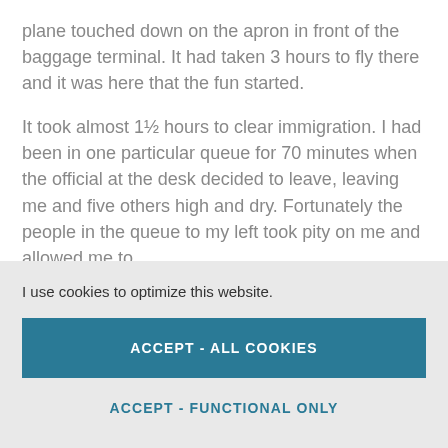plane touched down on the apron in front of the baggage terminal. It had taken 3 hours to fly there and it was here that the fun started.
It took almost 1½ hours to clear immigration. I had been in one particular queue for 70 minutes when the official at the desk decided to leave, leaving me and five others high and dry. Fortunately the people in the queue to my left took pity on me and allowed me to
I use cookies to optimize this website.
ACCEPT - ALL COOKIES
ACCEPT - FUNCTIONAL ONLY